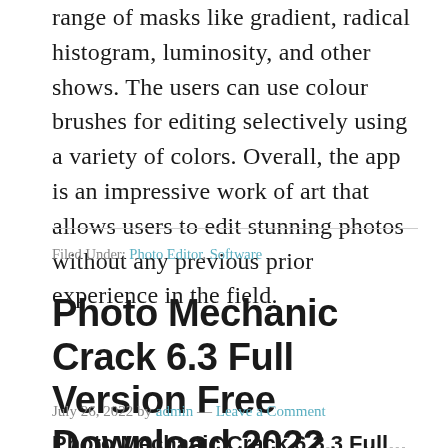range of masks like gradient, radical histogram, luminosity, and other shows. The users can use colour brushes for editing selectively using a variety of colors. Overall, the app is an impressive work of art that allows users to edit stunning photos without any previous prior experience in the field.
Filed Under: Photo Editor, Software
Photo Mechanic Crack 6.3 Full Version Free Download 2022
July 26, 2022 by admin — Leave a Comment
Photo Mechanic Crack 6.3.3 Full...